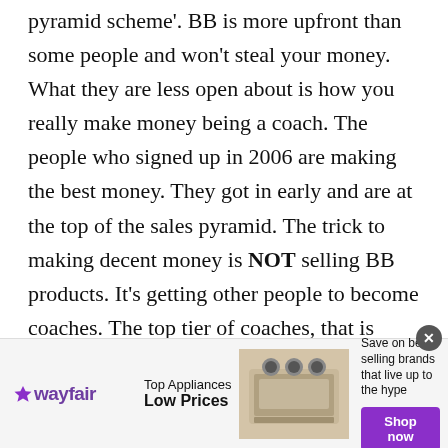pyramid scheme'. BB is more upfront than some people and won't steal your money. What they are less open about is how you really make money being a coach. The people who signed up in 2006 are making the best money. They got in early and are at the top of the sales pyramid. The trick to making decent money is NOT selling BB products. It's getting other people to become coaches. The top tier of coaches, that is pretty much all they've ever done. They recruited other coaches who do their recruiting (and some selling) for them. So, there is a push to be a coach and get other people to be a coach.
[Figure (other): Wayfair advertisement banner: Wayfair logo on the left, 'Top Appliances Low Prices' text, image of a range/oven appliance in the center, and 'Save on best selling brands that live up to the hype' with a purple 'Shop now' button on the right.]